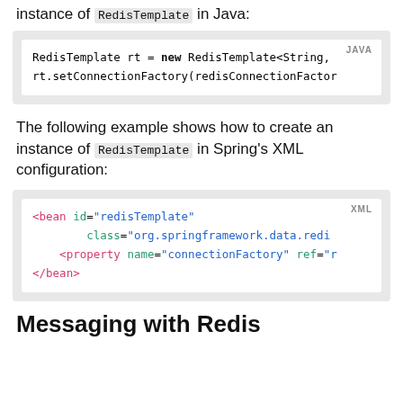instance of RedisTemplate in Java:
[Figure (screenshot): Java code block showing: RedisTemplate rt = new RedisTemplate<String, ... rt.setConnectionFactory(redisConnectionFactory...]
The following example shows how to create an instance of RedisTemplate in Spring's XML configuration:
[Figure (screenshot): XML code block showing: <bean id="redisTemplate" class="org.springframework.data.redi... <property name="connectionFactory" ref="r... </bean>]
Messaging with Redis